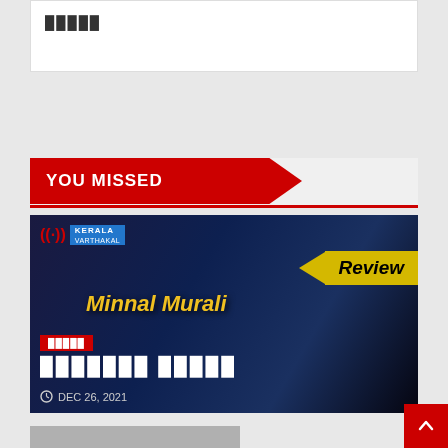█████
YOU MISSED
[Figure (photo): Movie promotional card for 'Minnal Murali' with Kerala Varthakal logo, Review badge, category tag in Malayalam, movie title in Malayalam script, and date DEC 26, 2021]
DEC 26, 2021